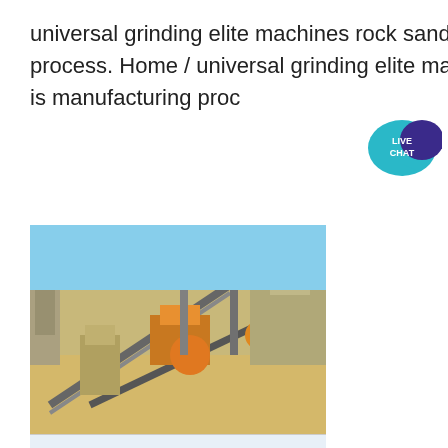universal grinding elite machines rock sand is manufacturing process. Home / universal grinding elite machines rock sand is manufacturing proc
[Figure (photo): Two stacked industrial photos: top shows an outdoor rock crushing/grinding plant with conveyor belts, machinery and industrial structures under a blue sky; bottom shows orange-colored industrial grinding or vibratory machines (likely vibrating screens or feeders) lined up in a row inside a facility.]